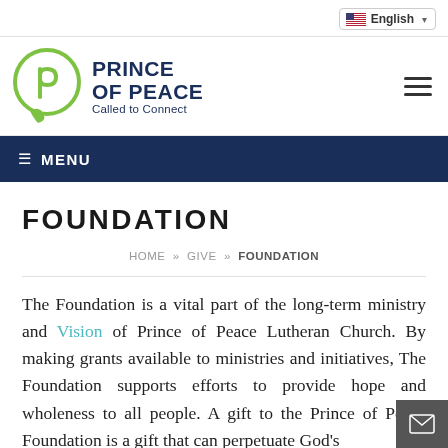English (language selector)
[Figure (logo): Prince of Peace Lutheran Church logo — circular green leaf/speech-bubble icon with text PRINCE OF PEACE Called to Connect]
≡ MENU
FOUNDATION
HOME » GIVE » FOUNDATION
The Foundation is a vital part of the long-term ministry and Vision of Prince of Peace Lutheran Church. By making grants available to ministries and initiatives, The Foundation supports efforts to provide hope and wholeness to all people. A gift to the Prince of Peace Foundation is a gift that can perpetuate God's